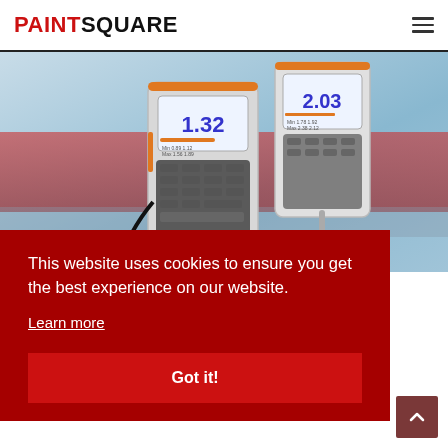PAINTSQUARE
[Figure (photo): Two handheld digital measuring devices (coating thickness gauges) with orange accents, showing readings of 1.32 and 2.03 on their LCD screens, against a background of a large blue/red ship hull being worked on.]
This website uses cookies to ensure you get the best experience on our website.
Learn more
Got it!